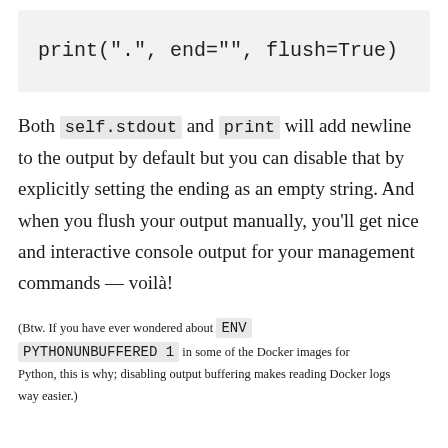Both self.stdout and print will add newline to the output by default but you can disable that by explicitly setting the ending as an empty string. And when you flush your output manually, you'll get nice and interactive console output for your management commands — voilà!
(Btw. If you have ever wondered about ENV PYTHONUNBUFFERED 1 in some of the Docker images for Python, this is why; disabling output buffering makes reading Docker logs way easier.)